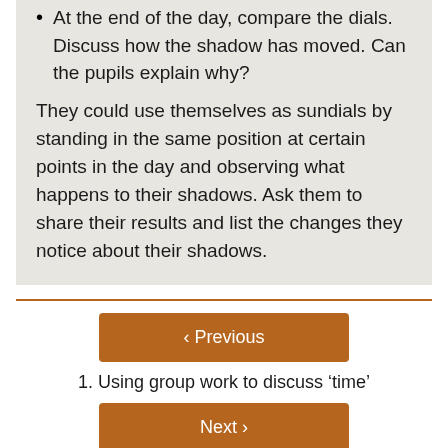At the end of the day, compare the dials. Discuss how the shadow has moved. Can the pupils explain why?
They could use themselves as sundials by standing in the same position at certain points in the day and observing what happens to their shadows. Ask them to share their results and list the changes they notice about their shadows.
‹ Previous
1. Using group work to discuss ‘time’
Next ›
2. Using group work to telling the time